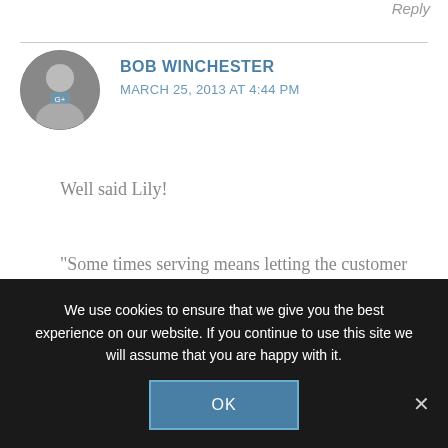Reply
[Figure (photo): Circular avatar photo of a person in black and white]
BOB WINCHESTER
MARCH 25, 2013 AT 4:44 PM
Well said Lily!
“Some times serving means letting the customer go, as you would a team member.” Outstanding point!
We use cookies to ensure that we give you the best experience on our website. If you continue to use this site we will assume that you are happy with it.
OK